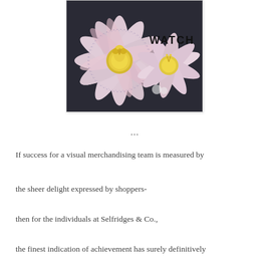[Figure (photo): Large decorative artificial passionflowers with pink and white petals and yellow centers, displayed in a retail/exhibition setting. The word WATCH is overlaid on the image.]
…
If success for a visual merchandising team is measured by
the sheer delight expressed by shoppers-
then for the individuals at Selfridges & Co.,
the finest indication of achievement has surely definitively